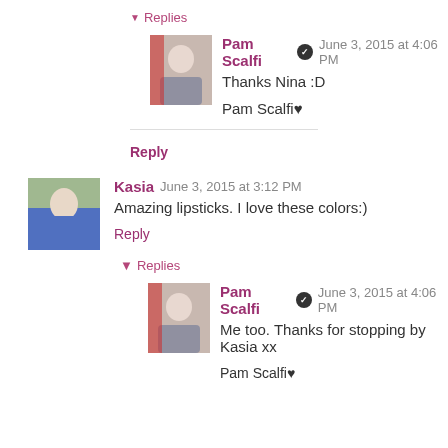▾ Replies
Pam Scalfi ✔ June 3, 2015 at 4:06 PM
Thanks Nina :D
Pam Scalfi♥
Reply
Kasia  June 3, 2015 at 3:12 PM
Amazing lipsticks. I love these colors:)
Reply
▾ Replies
Pam Scalfi ✔ June 3, 2015 at 4:06 PM
Me too. Thanks for stopping by Kasia xx
Pam Scalfi♥